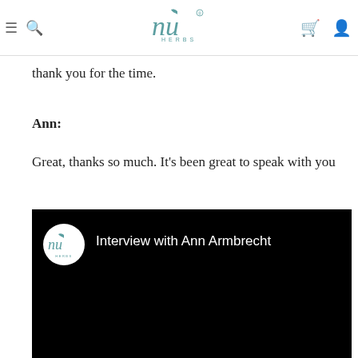Nu Herbs — navigation header with hamburger menu, search, logo, cart, and user icons
thank you for the time.
Ann:
Great, thanks so much. It's been great to speak with you
[Figure (screenshot): Embedded video thumbnail with Nu Herbs logo circle and title 'Interview with Ann Armbrecht' on black background]